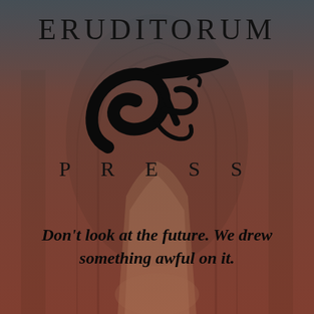[Figure (illustration): Full-page background illustration showing a figure with long hair viewed from behind, seated in an arched gothic-style setting with warm reddish-brown tones. A grey-blue gradient overlay covers the top portion.]
ERUDITORUM
[Figure (logo): Eruditorum Press stylized 'EP' logo in black — a large italic calligraphic swash forming an E and P, with a horizontal pen/quill element across the top.]
P R E S S
Don't look at the future. We drew something awful on it.